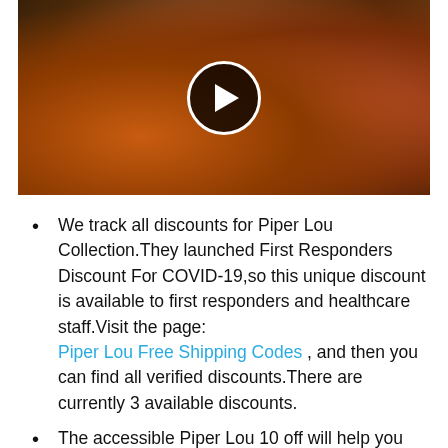[Figure (screenshot): Video thumbnail showing people in a room with plaid/tartan fabric, with a circular play button overlay in the center]
We track all discounts for Piper Lou Collection.They launched First Responders Discount For COVID-19,so this unique discount is available to first responders and healthcare staff.Visit the page: Piper Lou Free Shipping Codes , and then you can find all verified discounts.There are currently 3 available discounts.
The accessible Piper Lou 10 off will help you save